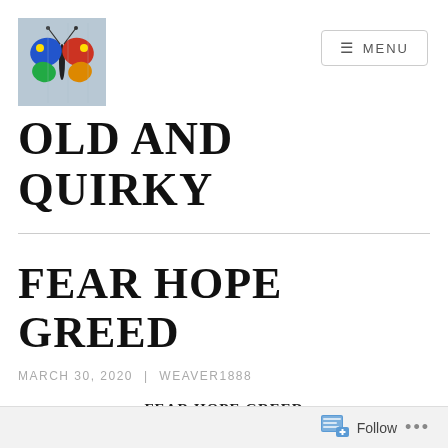[Figure (illustration): Colorful painted butterfly artwork on light blue/grey background]
OLD AND QUIRKY
FEAR HOPE GREED
MARCH 30, 2020 | WEAVER1888
FEAR HOPE GREED
Follow